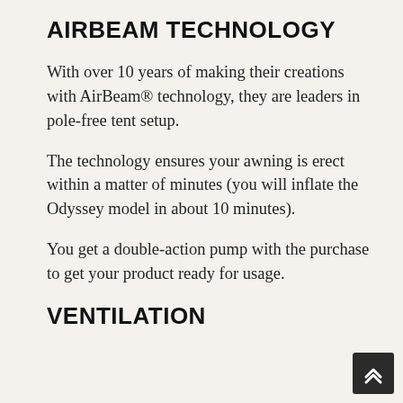AIRBEAM TECHNOLOGY
With over 10 years of making their creations with AirBeam® technology, they are leaders in pole-free tent setup.
The technology ensures your awning is erect within a matter of minutes (you will inflate the Odyssey model in about 10 minutes).
You get a double-action pump with the purchase to get your product ready for usage.
VENTILATION